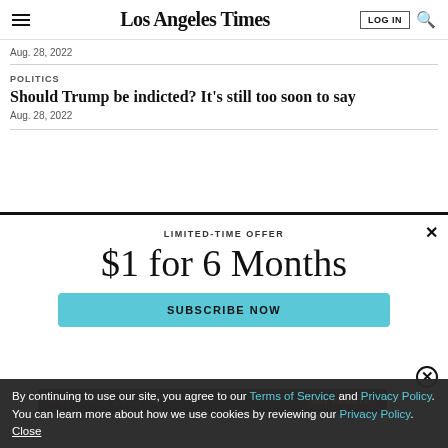Los Angeles Times
Aug. 28, 2022
POLITICS
Should Trump be indicted? It's still too soon to say
Aug. 28, 2022
LIMITED-TIME OFFER
$1 for 6 Months
SUBSCRIBE NOW
By continuing to use our site, you agree to our Terms of Service and Privacy Policy. You can learn more about how we use cookies by reviewing our Privacy Policy. Close